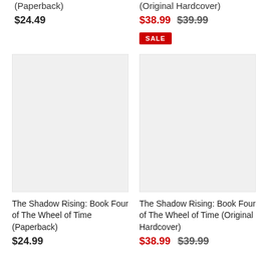(Paperback)
$24.49
(Original Hardcover)
$38.99 $39.99
SALE
[Figure (other): Blank book cover placeholder image for The Shadow Rising: Book Four of The Wheel of Time (Paperback), light gray rectangle]
[Figure (other): Blank book cover placeholder image for The Shadow Rising: Book Four of The Wheel of Time (Original Hardcover), light gray rectangle]
The Shadow Rising: Book Four of The Wheel of Time (Paperback)
$24.99
The Shadow Rising: Book Four of The Wheel of Time (Original Hardcover)
$38.99 $39.99